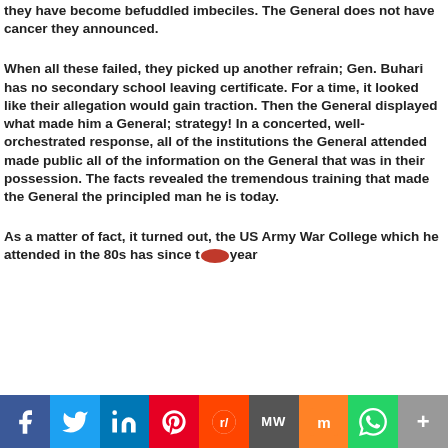they have become befuddled imbeciles. The General does not have cancer they announced.
When all these failed, they picked up another refrain; Gen. Buhari has no secondary school leaving certificate. For a time, it looked like their allegation would gain traction. Then the General displayed what made him a General; strategy! In a concerted, well-orchestrated response, all of the institutions the General attended made public all of the information on the General that was in their possession. The facts revealed the tremendous training that made the General the principled man he is today.
As a matter of fact, it turned out, the US Army War College which he attended in the 80s has since the year